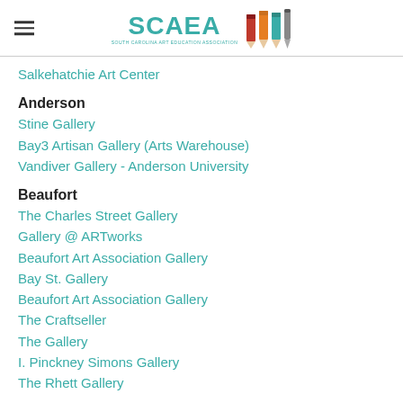[Figure (logo): SCAEA logo with teal text and colored pencil icons]
Salkehatchie Art Center
Anderson
Stine Gallery
Bay3 Artisan Gallery (Arts Warehouse)
Vandiver Gallery - Anderson University
Beaufort
The Charles Street Gallery
Gallery @ ARTworks
Beaufort Art Association Gallery
Bay St. Gallery
Beaufort Art Association Gallery
The Craftseller
The Gallery
I. Pinckney Simons Gallery
The Rhett Gallery